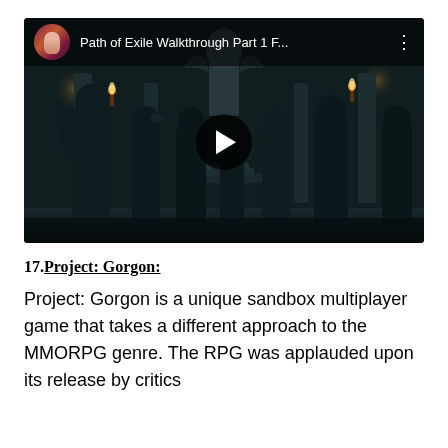[Figure (screenshot): YouTube video thumbnail showing 'Path of Exile Walkthrough Part 1 F...' with a dark fantasy scene featuring multiple warrior silhouettes in a dimly lit hall with torches. A play button is visible in the center. A channel avatar (fantasy female character) is shown in the top-left corner.]
17. Project: Gorgon:
Project: Gorgon is a unique sandbox multiplayer game that takes a different approach to the MMORPG genre. The RPG was applauded upon its release by critics